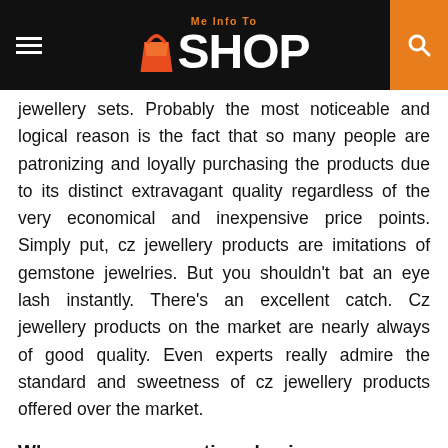Me Info To SHOP
jewellery sets. Probably the most noticeable and logical reason is the fact that so many people are patronizing and loyally purchasing the products due to its distinct extravagant quality regardless of the very economical and inexpensive price points. Simply put, cz jewellery products are imitations of gemstone jewelries. But you shouldn't bat an eye lash instantly. There's an excellent catch. Cz jewellery products on the market are nearly always of good quality. Even experts really admire the standard and sweetness of cz jewellery products offered over the market.
Why consumers continue buying any cz jewellery
Consumers are nearly always aware of the cost tags from the goods they're buying. Furthermore, they're